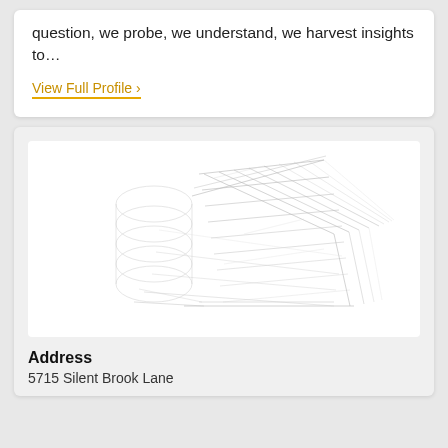question, we probe, we understand, we harvest insights to…
View Full Profile ›
[Figure (illustration): Wireframe architectural sketch of a building structure with grid lines, rendered in light pencil-like strokes on white background]
Address
5715 Silent Brook Lane